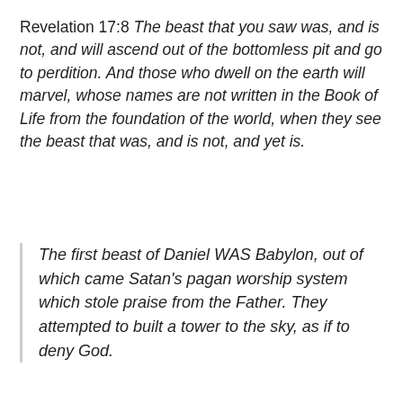Revelation 17:8 The beast that you saw was, and is not, and will ascend out of the bottomless pit and go to perdition. And those who dwell on the earth will marvel, whose names are not written in the Book of Life from the foundation of the world, when they see the beast that was, and is not, and yet is.
The first beast of Daniel WAS Babylon, out of which came Satan's pagan worship system which stole praise from the Father. They attempted to built a tower to the sky, as if to deny God.